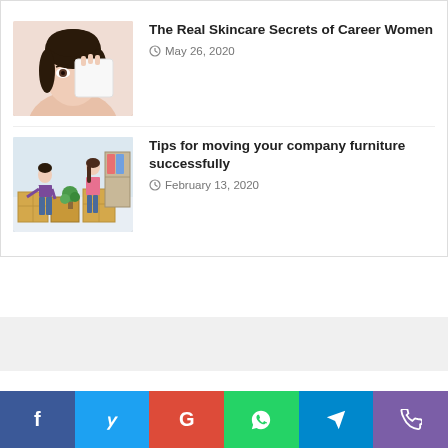[Figure (photo): Woman holding a face mask/sheet to her face, skincare product]
The Real Skincare Secrets of Career Women
May 26, 2020
[Figure (photo): Man and woman packing boxes for a move, moving furniture]
Tips for moving your company furniture successfully
February 13, 2020